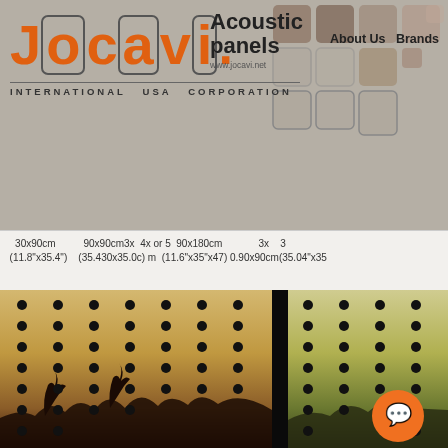[Figure (logo): JOCAVI Acoustic panels logo with orange stylized letters, International USA Corporation text, navigation links About Us Brands, and decorative acoustic panel grid in top right]
30x90cm (11.8"x35.4") 90x90cm 3x 4x or 5 90x180cm (35.43x35.4") (11.6"x35.4" 47.0) 90x90 cm (35.04"x35 3x 3x
[Figure (photo): Photograph of perforated wood acoustic panels with holes arranged in a grid pattern, showing two panels with dark divider between them, tropical scenery visible at bottom]